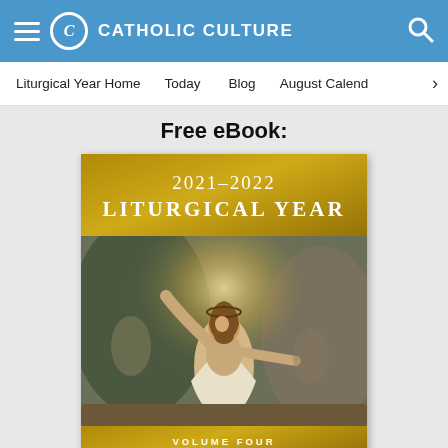CATHOLIC CULTURE
Liturgical Year Home  Today  Blog  August Calendar
Free eBook:
[Figure (illustration): Book cover for 2021-2022 Liturgical Year, Volume Four: Easter. Gold header with title text, painting of the Resurrection of Christ, gold volume band, white bottom with 'Easter' in gold italic text.]
Easter